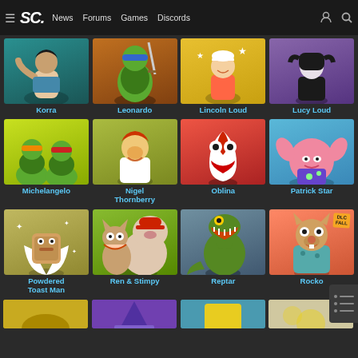SC. News Forums Games Discords
[Figure (screenshot): Character grid showing Nickelodeon All-Star Brawl characters. Row 1: Korra, Leonardo, Lincoln Loud, Lucy Loud. Row 2: Michelangelo, Nigel Thornberry, Oblina, Patrick Star. Row 3: Powdered Toast Man, Ren & Stimpy, Reptar, Rocko (DLC Fall). Partial row 4 visible at bottom.]